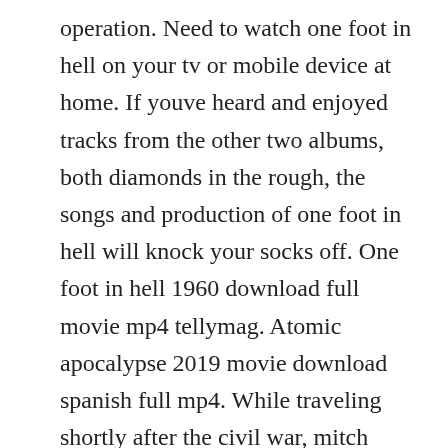operation. Need to watch one foot in hell on your tv or mobile device at home. If youve heard and enjoyed tracks from the other two albums, both diamonds in the rough, the songs and production of one foot in hell will knock your socks off. One foot in hell 1960 download full movie mp4 tellymag. Atomic apocalypse 2019 movie download spanish full mp4. While traveling shortly after the civil war, mitch barrett alan ladd and his pregnant wife rachel stephens make an emergency stop at a. By continuing to browse this site, you